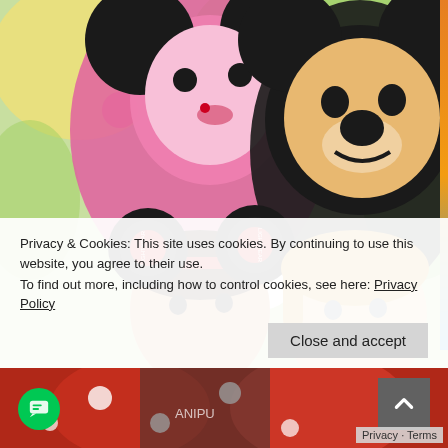[Figure (photo): Photo of two young children wearing Mickey Mouse ears with Lightyear/Cars themed headbands, posed in front of Minnie Mouse and Mickey Mouse cartoon character cutouts/inflatables with a colorful polka dot backdrop.]
Privacy & Cookies: This site uses cookies. By continuing to use this website, you agree to their use.
To find out more, including how to control cookies, see here: Privacy Policy
Close and accept
Privacy · Terms